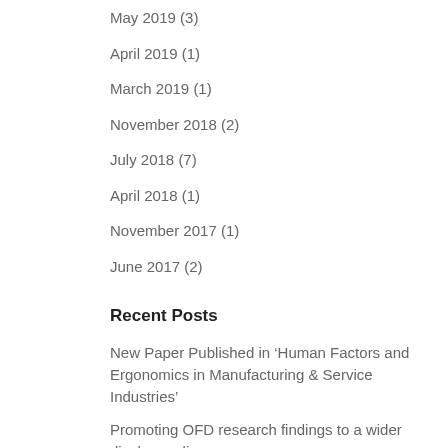May 2019 (3)
April 2019 (1)
March 2019 (1)
November 2018 (2)
July 2018 (7)
April 2018 (1)
November 2017 (1)
June 2017 (2)
Recent Posts
New Paper Published in ‘Human Factors and Ergonomics in Manufacturing & Service Industries’
Promoting OFD research findings to a wider display audience
The journey towards autonomy in civil aerospace – Webinar August 4th, 2020